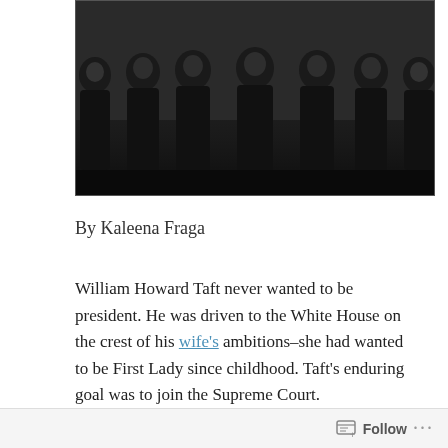[Figure (photo): Black and white historical photograph of a group of men in judicial robes seated in a row]
By Kaleena Fraga
William Howard Taft never wanted to be president. He was driven to the White House on the crest of his wife's ambitions–she had wanted to be First Lady since childhood. Taft's enduring goal was to join the Supreme Court.
Follow ...